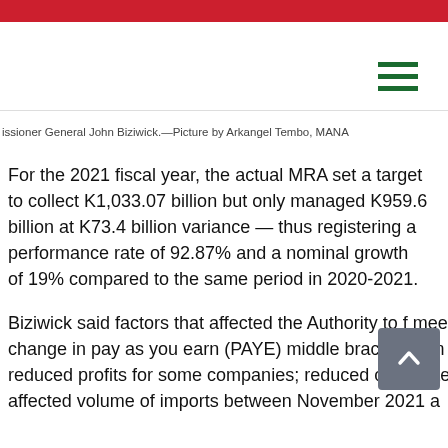issioner General John Biziwick.—Picture by Arkangel Tembo, MANA
For the 2021 fiscal year, the actual MRA set a target to collect K1,033.07 billion but only managed K959.6 billion at K73.4 billion variance — thus registering a performance rate of 92.87% and a nominal growth of 19% compared to the same period in 2020-2021.
Biziwick said factors that affected the Authority to f meet the set 2021/22 fiscal year target included policy change in pay as you earn (PAYE) middle bracket from 30% to 25%; lagged effects of CoVID-19 that led to reduced profits for some companies; reduced corporate income taxes and shortage of forex that negatively affected volume of imports between November 2021 a